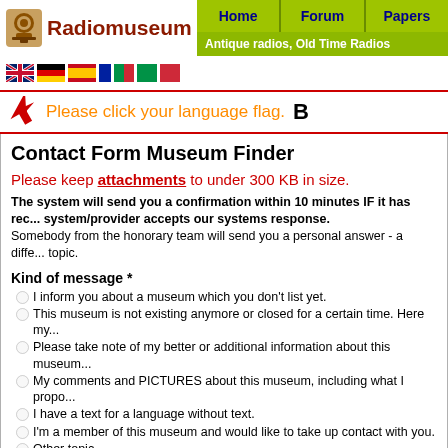[Figure (logo): Radiomuseum logo with brown radio icon and text]
Home | Forum | Papers | Antique radios, Old Time Radios
[Figure (illustration): Country flag icons row: UK, Germany, Spain/Italy, France, Italy, Hungary]
Please click your language flag. B
Contact Form Museum Finder
Please keep attachments to under 300 KB in size.
The system will send you a confirmation within 10 minutes IF it has rec... system/provider accepts our systems response. Somebody from the honorary team will send you a personal answer - a diffe... topic.
Kind of message *
I inform you about a museum which you don't list yet.
This museum is not existing anymore or closed for a certain time. Here my...
Please take note of my better or additional information about this museum...
My comments and PICTURES about this museum, including what I propo...
I have a text for a language without text.
I'm a member of this museum and would like to take up contact with you.
Other topic.
From
Your correct email address is essential to enable us to respond to you, so ple...